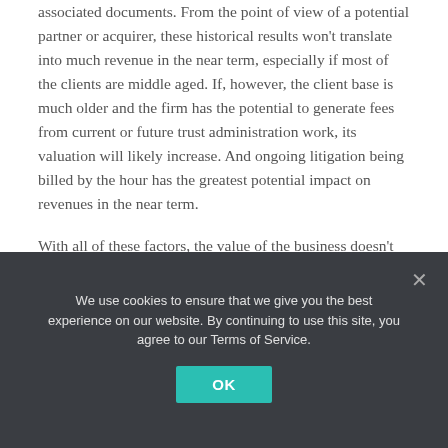associated documents. From the point of view of a potential partner or acquirer, these historical results won't translate into much revenue in the near term, especially if most of the clients are middle aged. If, however, the client base is much older and the firm has the potential to generate fees from current or future trust administration work, its valuation will likely increase. And ongoing litigation being billed by the hour has the greatest potential impact on revenues in the near term.
With all of these factors, the value of the business doesn't depend on the "comparable" estate planning firms that a business valuation firm might identify. The
We use cookies to ensure that we give you the best experience on our website. By continuing to use this site, you agree to our Terms of Service.